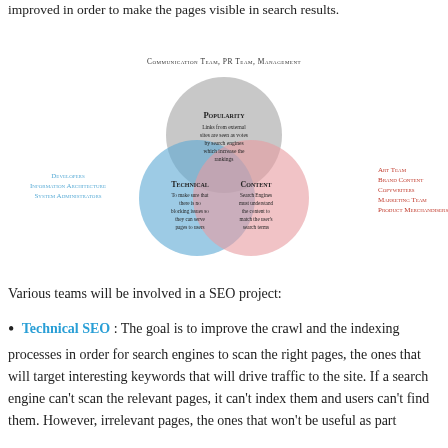improved in order to make the pages visible in search results.
[Figure (infographic): Venn diagram showing three overlapping circles labeled Popularity, Technical, and Content, with team labels around the diagram: Communication Team, PR Team, Management at top; Developers, Information Architecture, System Administrators on left; Art Team, Brand Content, Copywriters, Marketing Team, Product Merchandisers on right.]
Various teams will be involved in a SEO project:
Technical SEO : The goal is to improve the crawl and the indexing processes in order for search engines to scan the right pages, the ones that will target interesting keywords that will drive traffic to the site. If a search engine can't scan the relevant pages, it can't index them and users can't find them. However, irrelevant pages, the ones that won't be useful as part